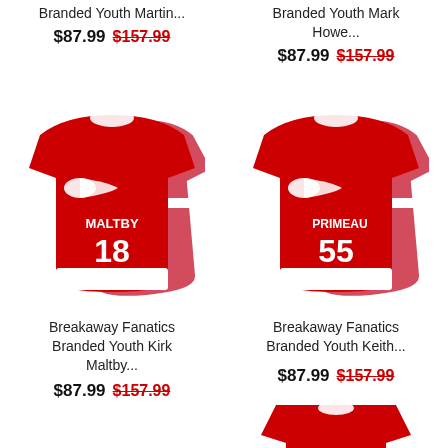Branded Youth Martin...
$87.99 $157.99
Branded Youth Mark Howe...
$87.99 $157.99
[Figure (photo): Detroit Red Wings jersey #18 MALTBY, red with white accents, youth size]
[Figure (photo): Detroit Red Wings jersey #55 PRIMEAU, red with white accents, youth size]
Breakaway Fanatics Branded Youth Kirk Maltby...
$87.99 $157.99
Breakaway Fanatics Branded Youth Keith...
$87.99 $157.99
[Figure (photo): Detroit Red Wings jersey partially visible at bottom right]